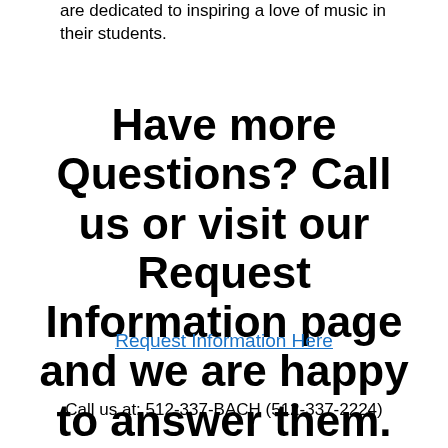are dedicated to inspiring a love of music in their students.
Have more Questions? Call us or visit our Request Information page and we are happy to answer them.
Request Information Here
Call us at: 512-337-BACH (512-337-2224)